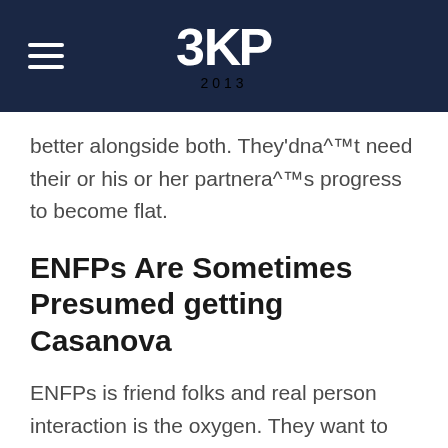3KP 2013
better alongside both. They'dna^™t need their or his or her partnera^™s progress to become flat.
ENFPs Are Sometimes Presumed getting Casanova
ENFPs is friend folks and real person interaction is the oxygen. They want to see a number of people making buddies. Everyone is not just accustomed the sort of real like and eyes which ENFPs generally extravagant on them. This obviously leads to ENFPs becoming regularly implicated of flirting with every person. ENFPs